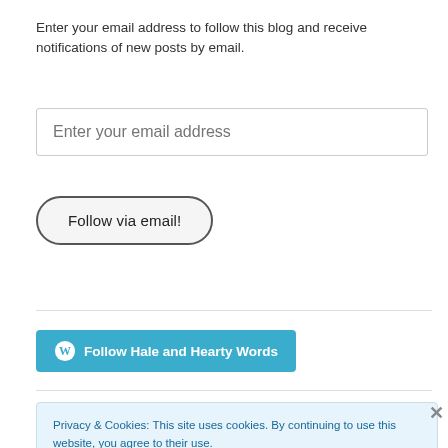Enter your email address to follow this blog and receive notifications of new posts by email.
Enter your email address
Follow via email!
[Figure (other): WordPress Follow button: Follow Hale and Hearty Words]
Privacy & Cookies: This site uses cookies. By continuing to use this website, you agree to their use.
To find out more, including how to control cookies, see here: Cookie Policy
Close and accept